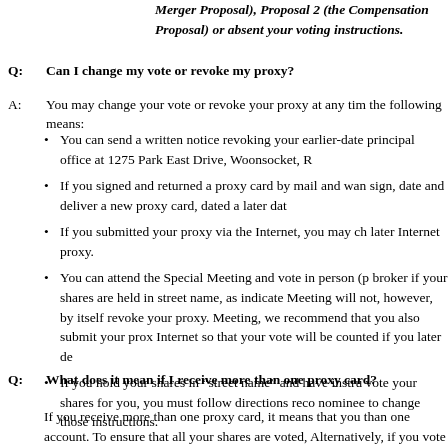Merger Proposal), Proposal 2 (the Compensation Proposal) or absent your voting instructions.
Q: Can I change my vote or revoke my proxy?
A: You may change your vote or revoke your proxy at any time before it is voted by the following means:
You can send a written notice revoking your earlier-dated proxy to our principal office at 1275 Park East Drive, Woonsocket, R
If you signed and returned a proxy card by mail and want to change it, sign, date and deliver a new proxy card, dated a later dat
If you submitted your proxy via the Internet, you may ch later Internet proxy.
You can attend the Special Meeting and vote in person (p broker if your shares are held in street name, as indicate Meeting will not, however, by itself revoke your proxy. Meeting, we recommend that you also submit your prox Internet so that your vote will be counted if you later de
If you hold your shares in “street name” and have instru vote your shares for you, you must follow directions reco nominee to change those instructions.
Q: What does it mean if I receive more than one proxy card?
If you receive more than one proxy card, it means that you than one account. To ensure that all your shares are voted, Alternatively, if you vote via the Internet, you will need to